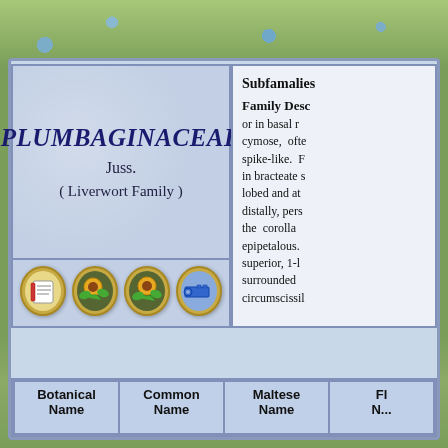PLUMBAGINACEAE
Juss.
( Liverwort Family )
Subfamalies
Family Desc or in basal r cymose, ofte spike-like. F in bracteate s lobed and at distally, pers the corolla epipetalous. superior, 1-l surrounded circumscissil
[Figure (illustration): Four oval icon buttons: a notebook/card icon, two sunflower/plant icons, and a key icon]
| Botanical Name | Common Name | Maltese Name | Fl... |
| --- | --- | --- | --- |
| Name | Name | Name | N... |